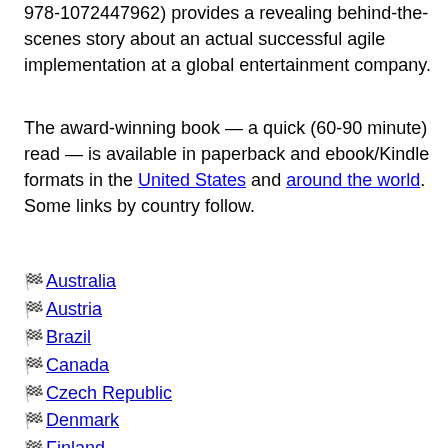978-1072447962) provides a revealing behind-the-scenes story about an actual successful agile implementation at a global entertainment company.
The award-winning book — a quick (60-90 minute) read — is available in paperback and ebook/Kindle formats in the United States and around the world. Some links by country follow.
🏁 Australia
🏁 Austria
🏁 Brazil
🏁 Canada
🏁 Czech Republic
🏁 Denmark
🏁 Finland
🏁 France